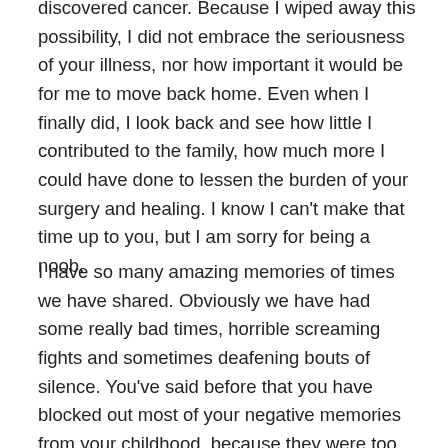discovered cancer. Because I wiped away this possibility, I did not embrace the seriousness of your illness, nor how important it would be for me to move back home. Even when I finally did, I look back and see how little I contributed to the family, how much more I could have done to lessen the burden of your surgery and healing. I know I can't make that time up to you, but I am sorry for being a noob.
I have so many amazing memories of times we have shared. Obviously we have had some really bad times, horrible screaming fights and sometimes deafening bouts of silence. You've said before that you have blocked out most of your negative memories from your childhood, because they were too painful to keep around. But I think that the reason I remember less of the bad and all of the good is not because the bad is so bad, but because the